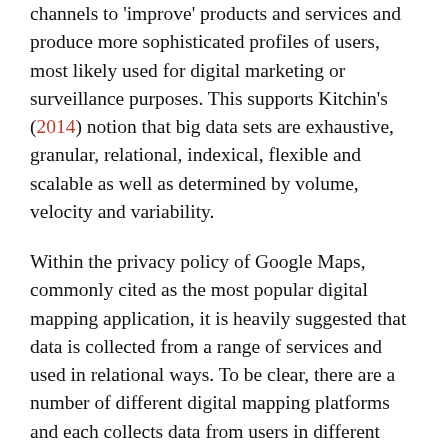channels to 'improve' products and services and produce more sophisticated profiles of users, most likely used for digital marketing or surveillance purposes. This supports Kitchin's (2014) notion that big data sets are exhaustive, granular, relational, indexical, flexible and scalable as well as determined by volume, velocity and variability.
Within the privacy policy of Google Maps, commonly cited as the most popular digital mapping application, it is heavily suggested that data is collected from a range of services and used in relational ways. To be clear, there are a number of different digital mapping platforms and each collects data from users in different ways. The policy of open-sourced mapping platform OpenStreetMap (OSM), for example, is to allow anyone (with the technical skills) to access the data that is being collected when the platform is used (OSM, ...